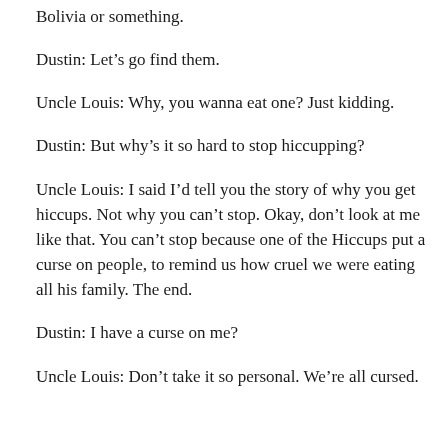Bolivia or something.
Dustin: Let’s go find them.
Uncle Louis: Why, you wanna eat one? Just kidding.
Dustin: But why’s it so hard to stop hiccupping?
Uncle Louis: I said I’d tell you the story of why you get hiccups. Not why you can’t stop. Okay, don’t look at me like that. You can’t stop because one of the Hiccups put a curse on people, to remind us how cruel we were eating all his family. The end.
Dustin: I have a curse on me?
Uncle Louis: Don’t take it so personal. We’re all cursed.